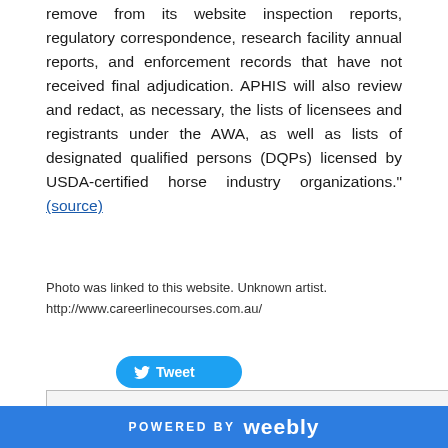remove from its website inspection reports, regulatory correspondence, research facility annual reports, and enforcement records that have not received final adjudication. APHIS will also review and redact, as necessary, the lists of licensees and registrants under the AWA, as well as lists of designated qualified persons (DQPs) licensed by USDA-certified horse industry organizations." (source)
Photo was linked to this website. Unknown artist.
http://www.careerlinecourses.com.au/
[Figure (other): Twitter Tweet button (blue rounded rectangle with bird icon and 'Tweet' text)]
POWERED BY weebly